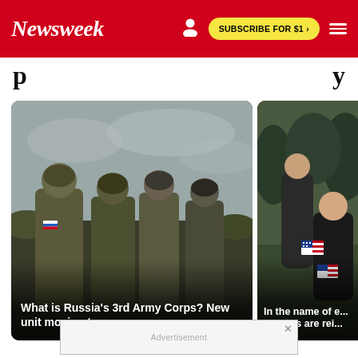Newsweek | SUBSCRIBE FOR $1 >
p…y
[Figure (photo): Russian soldiers in military gear and camouflage walking in a field under overcast skies]
What is Russia's 3rd Army Corps? New unit moving to...
[Figure (photo): Children and adult holding small American flags, possibly at a school event]
In the name of e...schools are rei...
[Figure (other): Advertisement banner at the bottom of the page]